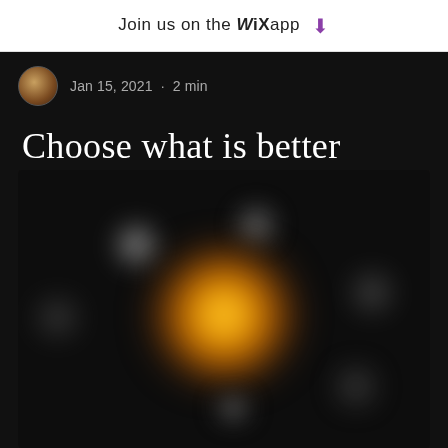Join us on the WiX app ⬇
Jan 15, 2021 · 2 min
Choose what is better
[Figure (photo): Dark blurred photo showing multiple bokeh light spots on a dark background, with one prominent warm golden/yellow glowing light in the center and several smaller cool white blurred lights scattered around]